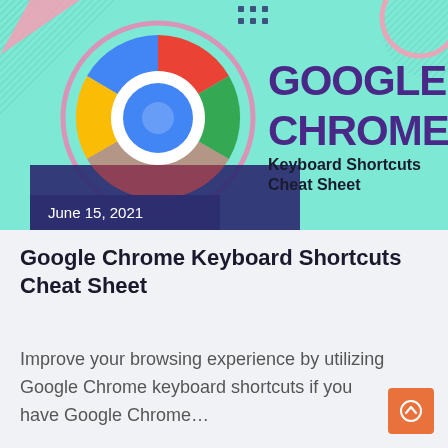[Figure (illustration): Google Chrome Keyboard Shortcuts Cheat Sheet banner with mint/teal background, Google Chrome logo (colorful pinwheel), decorative geometric shapes, text reading GOOGLE CHROME Keyboard Shortcuts Cheat Sheet, and a date label June 15, 2021]
Google Chrome Keyboard Shortcuts Cheat Sheet
Improve your browsing experience by utilizing Google Chrome keyboard shortcuts if you have Google Chrome…